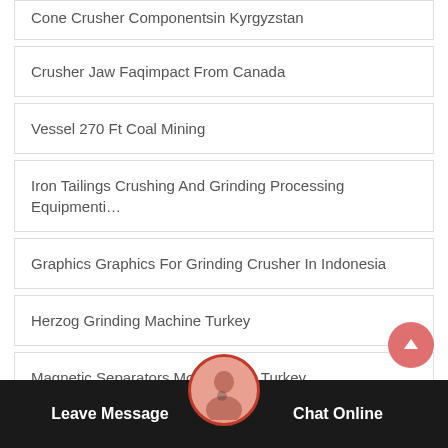Cone Crusher Componentsin Kyrgyzstan
Crusher Jaw Faqimpact From Canada
Vessel 270 Ft Coal Mining
Iron Tailings Crushing And Grinding Processing Equipmenti…
Graphics Graphics For Grinding Crusher In Indonesia
Herzog Grinding Machine Turkey
Magnetic Separators Mobile From Turkey
Leave Message   Chat Online